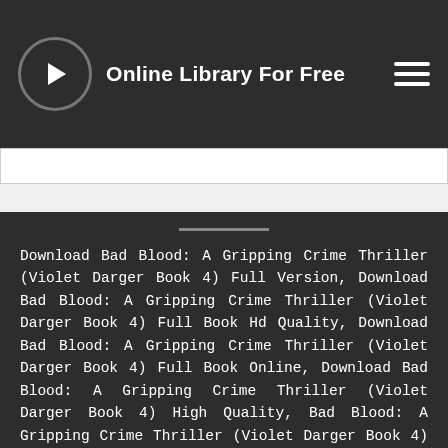Online Library For Free
Download Bad Blood: A Gripping Crime Thriller (Violet Darger Book 4) Full Version, Download Bad Blood: A Gripping Crime Thriller (Violet Darger Book 4) Full Book Hd Quality, Download Bad Blood: A Gripping Crime Thriller (Violet Darger Book 4) Full Book Online, Download Bad Blood: A Gripping Crime Thriller (Violet Darger Book 4) High Quality, Bad Blood: A Gripping Crime Thriller (Violet Darger Book 4) High Quality Download, Download Bad Blood: A Gripping Crime Thriller (Violet Darger Book 4) Full Book Google Drive, Download Bad Blood: A Gripping Crime Thriller (Violet